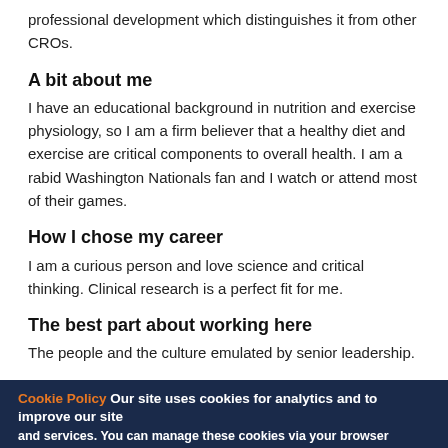professional development which distinguishes it from other CROs.
A bit about me
I have an educational background in nutrition and exercise physiology, so I am a firm believer that a healthy diet and exercise are critical components to overall health. I am a rabid Washington Nationals fan and I watch or attend most of their games.
How I chose my career
I am a curious person and love science and critical thinking. Clinical research is a perfect fit for me.
The best part about working here
The people and the culture emulated by senior leadership.
My background
After I finished my master’s degree, I worked as a dietitian in various teaching hospitals which provided me with clinical experience. Prior to joining Emmes in 2007, I worked as a research coordinator and site manager at a clinical site focusing on diabetes and obesity.
Cookie Policy Our site uses cookies for analytics and to improve our site and services. You can manage these cookies via your browser settings at any